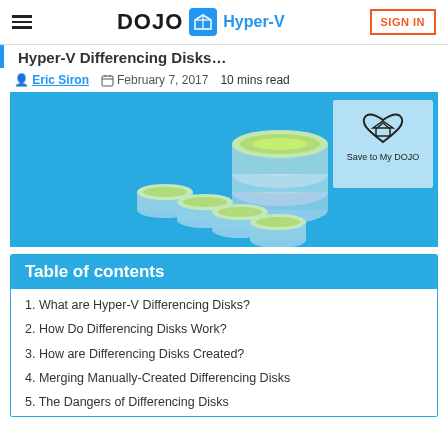DOJO Hyper-V | SIGN IN
Hyper-V Differencing Disks (partial title visible)
Eric Siron  February 7, 2017  10 mins read
[Figure (illustration): Blue hero banner with isometric stacked disk/database shapes in green and blue/white, representing Hyper-V Differencing Disks. A 'Save to My DOJO' overlay in light blue is shown in the top right corner with a heart-shaped logo.]
Table of contents
1. What are Hyper-V Differencing Disks?
2. How Do Differencing Disks Work?
3. How are Differencing Disks Created?
4. Merging Manually-Created Differencing Disks
5. The Dangers of Differencing Disks